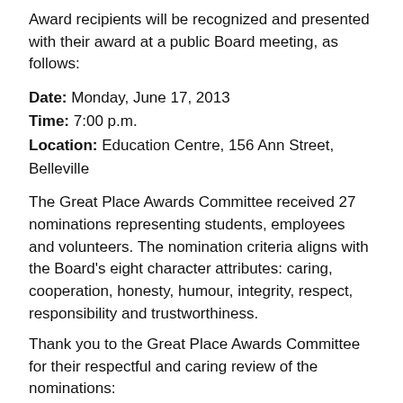Award recipients will be recognized and presented with their award at a public Board meeting, as follows:
Date: Monday, June 17, 2013
Time: 7:00 p.m.
Location: Education Centre, 156 Ann Street, Belleville
The Great Place Awards Committee received 27 nominations representing students, employees and volunteers. The nomination criteria aligns with the Board’s eight character attributes: caring, cooperation, honesty, humour, integrity, respect, responsibility and trustworthiness.
Thank you to the Great Place Awards Committee for their respectful and caring review of the nominations:
Christine Blakely, Child & Youth Counsellor
Karen Chow, President, Hastings & Prince Edward Occasional Teachers’ Local
Paul Covert, Parent Involvement Committee Co-chair
Geoff Cudmore, The Hastings and Prince Edward Learning Foundation